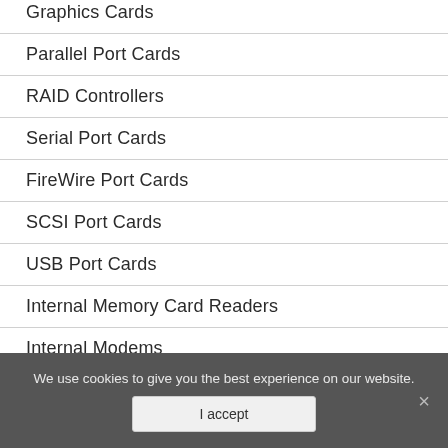Graphics Cards
Parallel Port Cards
RAID Controllers
Serial Port Cards
FireWire Port Cards
SCSI Port Cards
USB Port Cards
Internal Memory Card Readers
Internal Modems
Internal Blu-ray Drives
Internal CD Drives
We use cookies to give you the best experience on our website.
I accept